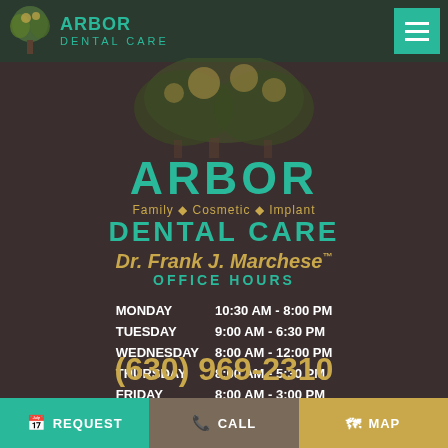ARBOR DENTAL CARE
[Figure (logo): Arbor Dental Care logo with tree illustration and teal text reading ARBOR DENTAL CARE]
ARBOR
Family • Cosmetic • Implant
DENTAL CARE
Dr. Frank J. Marchese™
OFFICE HOURS
| Day | Hours |
| --- | --- |
| MONDAY | 10:30 AM - 8:00 PM |
| TUESDAY | 9:00 AM - 6:30 PM |
| WEDNESDAY | 8:00 AM - 12:00 PM |
| THURSDAY | 8:00 AM - 5:30 PM |
| FRIDAY | 8:00 AM - 3:00 PM |
(630) 969-2310
REQUEST  CALL  MAP